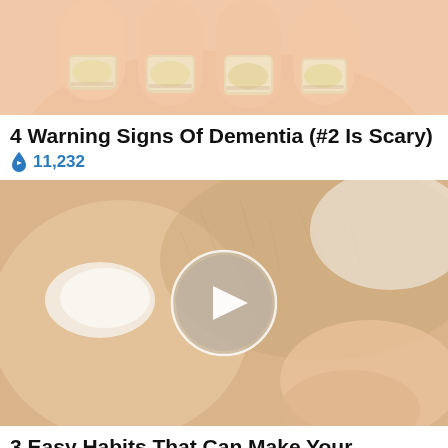[Figure (photo): Close-up photo of fingers showing fingernails, with yellowish discoloration, against a light background]
4 Warning Signs Of Dementia (#2 Is Scary)
🔥 11,232
[Figure (photo): Close-up photo of skin with a cream/lotion being applied, with a circular play button overlay indicating a video]
3 Easy Habits That Can Make Your Sagging Skin Snap Back
🔥 ...